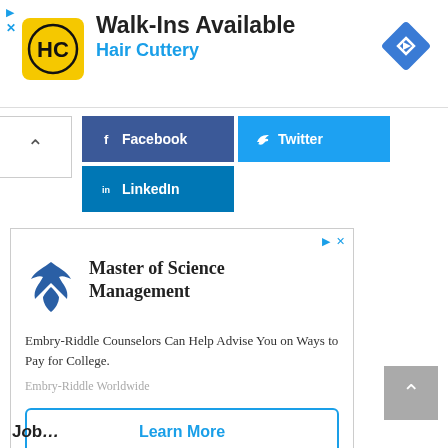[Figure (advertisement): Hair Cuttery ad banner: logo (HC yellow circle), headline 'Walk-Ins Available', subheadline 'Hair Cuttery' in blue, navigation diamond icon top-right]
[Figure (infographic): Social share buttons: Facebook (dark blue), Twitter (light blue), LinkedIn (blue)]
[Figure (advertisement): Embry-Riddle Worldwide ad: eagle logo, 'Master of Science Management' heading, body text about counselors, 'Learn More' CTA button]